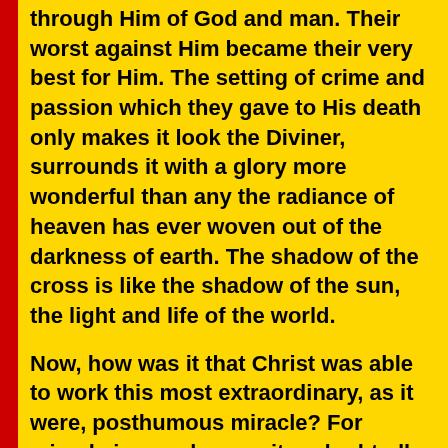through Him of God and man. Their worst against Him became their very best for Him. The setting of crime and passion which they gave to His death only makes it look the Diviner, surrounds it with a glory more wonderful than any the radiance of heaven has ever woven out of the darkness of earth. The shadow of the cross is like the shadow of the sun, the light and life of the world.
Now, how was it that Christ was able to work this most extraordinary, as it were, posthumous miracle? For miracle in a real sense it undoubtedly was. The achievement of His death was a more violent contradiction to the probabilities or uniform sequences which men call laws of nature or of history than any achievement of His life. No death has had for man the same significance as His; no instrument of death has ever acquired the...